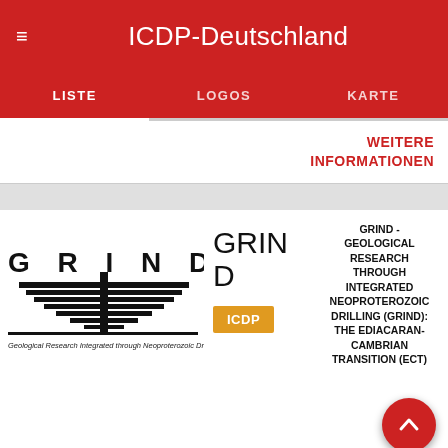ICDP-Deutschland
LISTE | LOGOS | KARTE
WEITERE INFORMATIONEN
[Figure (logo): GRIND logo - Geological Research Integrated through Neoproterozoic Drilling, showing layered pyramid/mesa with cross structure]
GRIND
ICDP
GRIND - GEOLOGICAL RESEARCH THROUGH INTEGRATED NEOPROTEROZOIC DRILLING (GRIND): THE EDIACARAN-CAMBRIAN TRANSITION (ECT)